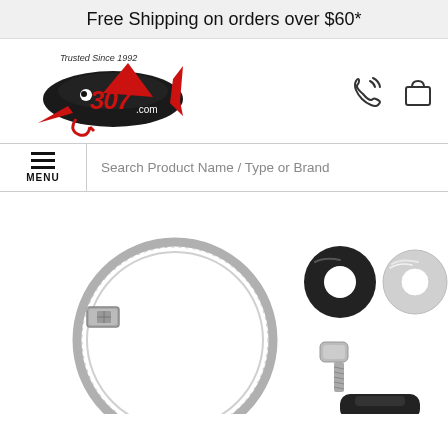Free Shipping on orders over $60*
[Figure (logo): Fish307.com logo with shark graphic, red and black, 'Trusted Since 1992']
[Figure (other): Phone/call icon and shopping bag icon in header]
MENU
Search Product Name / Type or Brand
[Figure (photo): Product photo showing a hose clamp ring, two washers (black and silver), a bolt/screw, and a black plastic component on white background]